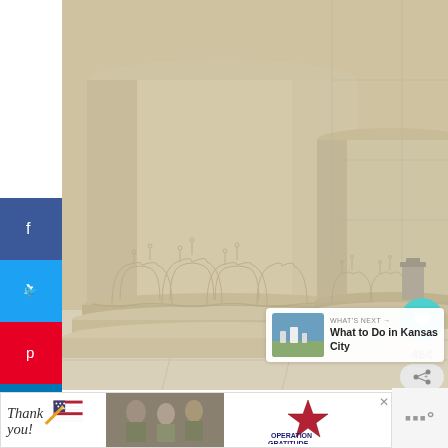[Figure (photo): Close-up photograph of ornate stone columns at a government or memorial building, showing decorative carved relief patterns at the base of the columns. The columns are a warm cream/beige limestone color. Multiple columns visible receding into background, with stone floor and wall visible.]
[Figure (infographic): Social media sharing sidebar with buttons for Facebook (blue), Twitter (cyan), Pinterest (red), LinkedIn (blue), heart/favorite (white), email (green), and print (white) icons.]
[Figure (infographic): Like count overlay showing heart icon in teal circle with count 464, and share icon below.]
[Figure (infographic): What's Next promotional box showing thumbnail of Kansas City skyline with text 'WHAT'S NEXT → What to Do in Kansas City']
[Figure (photo): Advertisement banner reading 'Thank you!' with American flag imagery and military personnel photo, alongside Operation Gratitude logo.]